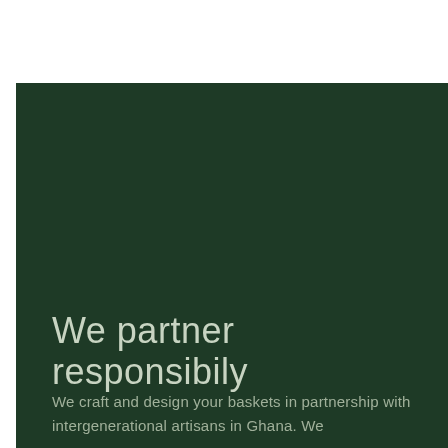We partner responsibily
We craft and design your baskets in partnership with intergenerational artisans in Ghana. We